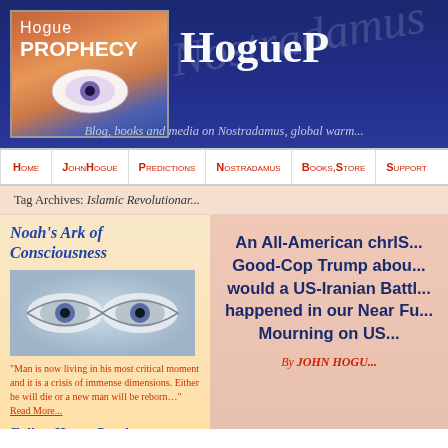[Figure (screenshot): Hogue Prophecy website header with logo showing an eye image and text 'Hogue PROPHECY', site name 'HogueP' visible, tagline about blog books and media on Nostradamus global warming]
Blog, books and media on Nostradamus, global warm...
Home | John Hogue | Predictions | Nostradamus | Books, Store | Support
Tag Archives: Islamic Revolutionar...
Noah's Ark of Consciousness
[Figure (photo): Close-up photograph of a pair of eyes with blue tint]
"Man is now living in his most critical moment and it is a crisis of immense dimensions. Either he will die or a new man will be reborn..." Read More...
Follow Hogue Prophecy
An All-American chrIS... Good-Cop Trump abou... would a US-Iranian Battl... happened in our Near Fu... Mourning on US...
By JOHN HOGU...